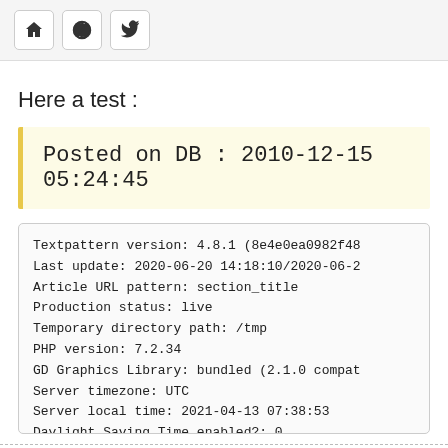🏠 ⭕ 🐦
Here a test :
Posted on DB : 2010-12-15 05:24:45
Textpattern version: 4.8.1 (8e4e0ea0982f48
Last update: 2020-06-20 14:18:10/2020-06-2
Article URL pattern: section_title
Production status: live
Temporary directory path: /tmp
PHP version: 7.2.34
GD Graphics Library: bundled (2.1.0 compat
Server timezone: UTC
Server local time: 2021-04-13 07:38:53
Daylight Saving Time enabled?: 0
Conception site web Algerie | Livre Algerie |